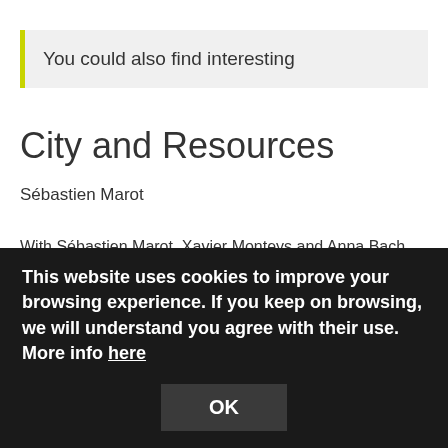You could also find interesting
City and Resources
Sébastien Marot
With Sébastien Marot, Xavier Monteys and Anna Bach we will rethink the connections between
This website uses cookies to improve your browsing experience. If you keep on browsing, we will understand you agree with their use. More info here
OK